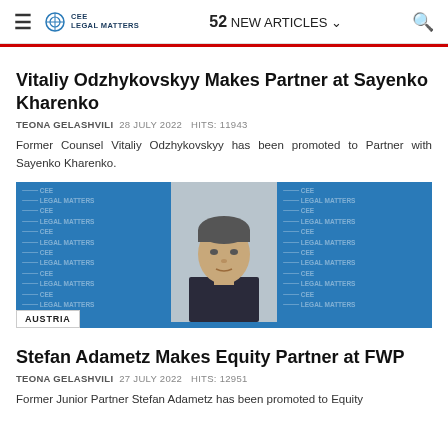≡  CEE LEGAL MATTERS  |  52 NEW ARTICLES  |  🔍
Vitaliy Odzhykovskyy Makes Partner at Sayenko Kharenko
TEONA GELASHVILI  28 JULY 2022  HITS: 11943
Former Counsel Vitaliy Odzhykovskyy has been promoted to Partner with Sayenko Kharenko.
[Figure (photo): Portrait photo of Vitaliy Odzhykovskyy centered between two blue CEE Legal Matters watermark panels, with AUSTRIA tag at bottom left]
Stefan Adametz Makes Equity Partner at FWP
TEONA GELASHVILI  27 JULY 2022  HITS: 12951
Former Junior Partner Stefan Adametz has been promoted to Equity